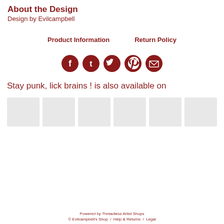About the Design
Design by Evilcampbell
Product Information    Return Policy
[Figure (infographic): Five social media sharing icons (Facebook, Tumblr, Twitter, Pinterest, Email) as dark red circles with white symbols]
Stay punk, lick brains ! is also available on
[Figure (infographic): Six grey product thumbnail placeholder boxes in a row]
Powered by Threadless Artist Shops
© Evilcampbell's Shop /  Help & Returns  /  Legal